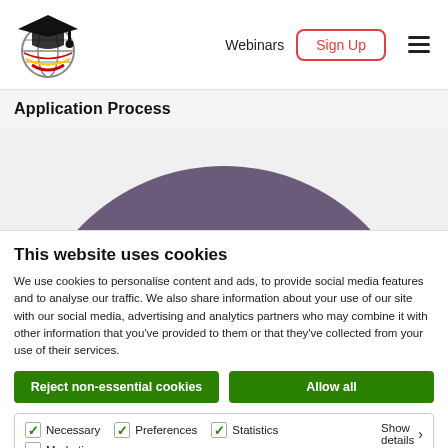Webinars  Sign Up
Application Process
[Figure (illustration): Partial view of a large purple/mauve semicircle on a light gray background, representing a decorative graphic element on the webpage.]
This website uses cookies
We use cookies to personalise content and ads, to provide social media features and to analyse our traffic. We also share information about your use of our site with our social media, advertising and analytics partners who may combine it with other information that you've provided to them or that they've collected from your use of their services.
Reject non-essential cookies
Allow all
Necessary  Preferences  Statistics  Marketing  Show details